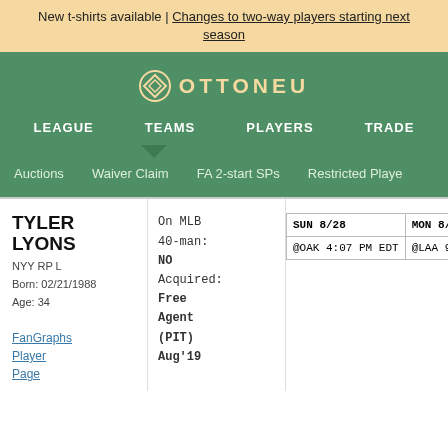New t-shirts available | Changes to two-way players starting next season
[Figure (logo): Ottoneu logo with diamond icon and text OTTONEU]
LEAGUE   TEAMS   PLAYERS   TRADE
Auctions   Waiver Claim   FA 2-start SPs   Restricted Players
TYLER LYONS
NYY RP L
Born: 02/21/1988
Age: 34
FanGraphs Player Page
On MLB 40-man: NO
Acquired: Free Agent (PIT) Aug'19
| SUN 8/28 | MON 8/29 | TUE 8/3 |
| --- | --- | --- |
| @OAK 4:07 PM EDT | @LAA 9:38 PM EDT | @LAA 9:38 |